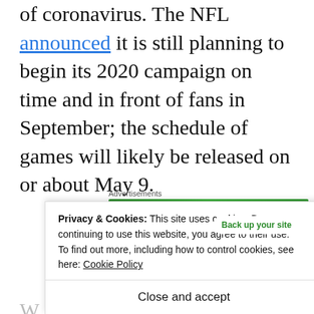of coronavirus. The NFL announced it is still planning to begin its 2020 campaign on time and in front of fans in September; the schedule of games will likely be released on or about May 9.
[Figure (other): Jetpack advertisement banner with green background showing Jetpack logo and 'Back up your site' button]
Privacy & Cookies: This site uses cookies. By continuing to use this website, you agree to their use.
To find out more, including how to control cookies, see here: Cookie Policy
Close and accept